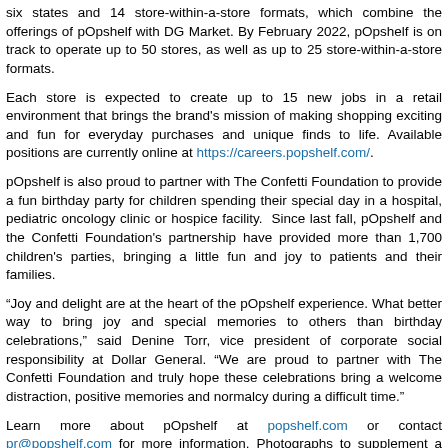six states and 14 store-within-a-store formats, which combine the offerings of pOpshelf with DG Market. By February 2022, pOpshelf is on track to operate up to 50 stores, as well as up to 25 store-within-a-store formats.
Each store is expected to create up to 15 new jobs in a retail environment that brings the brand's mission of making shopping exciting and fun for everyday purchases and unique finds to life. Available positions are currently online at https://careers.popshelf.com/.
pOpshelf is also proud to partner with The Confetti Foundation to provide a fun birthday party for children spending their special day in a hospital, pediatric oncology clinic or hospice facility.  Since last fall, pOpshelf and the Confetti Foundation's partnership have provided more than 1,700 children's parties, bringing a little fun and joy to patients and their families.
“Joy and delight are at the heart of the pOpshelf experience. What better way to bring joy and special memories to others than birthday celebrations,” said Denine Torr, vice president of corporate social responsibility at Dollar General. “We are proud to partner with The Confetti Foundation and truly hope these celebrations bring a welcome distraction, positive memories and normalcy during a difficult time.”
Learn more about pOpshelf at popshelf.com or contact pr@popshelf.com for more information. Photographs to supplement a story are also available online at https://newscenter.dollargeneral.com/popshelf/.